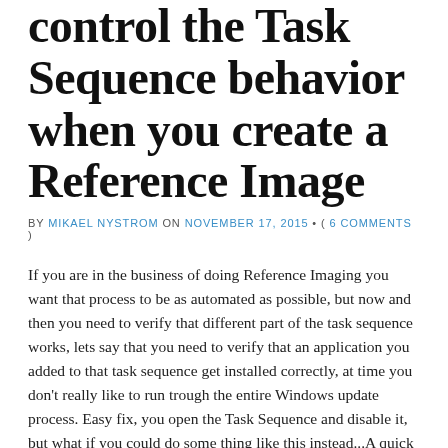control the Task Sequence behavior when you create a Reference Image
BY MIKAEL NYSTROM ON NOVEMBER 17, 2015 • ( 6 COMMENTS )
If you are in the business of doing Reference Imaging you want that process to be as automated as possible, but now and then you need to verify that different part of the task sequence works, lets say that you need to verify that an application you added to that task sequence get installed correctly, at time you don't really like to run trough the entire Windows update process. Easy fix, you open the Task Sequence and disable it, but what if you could do some thing like this instead...A quick Note before you begin: This is not supported, since includes a modification a ZTIConfig.vbs and credit goes to Keith Garner for the explaining how to do that